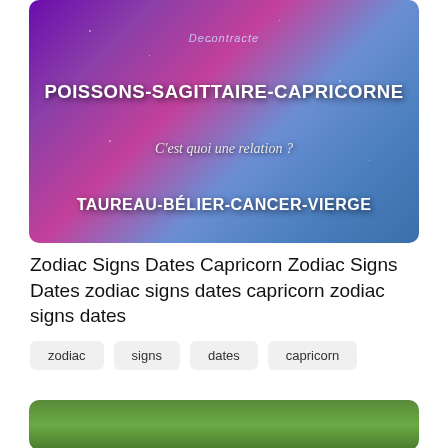[Figure (illustration): Dark purple and blue cosmic/space background with white bold text showing zodiac sign combinations: 'POISSONS-SAGITTAIRE-CAPRICORNE' at top, 'C'est quoi une relation ?' in the middle, and 'TAUREAU-BÉLIER-CANCER-VIERGE' at the bottom.]
Zodiac Signs Dates Capricorn Zodiac Signs Dates zodiac signs dates capricorn zodiac signs dates
zodiac
signs
dates
capricorn
[Figure (photo): Partial photo at bottom showing green plants/vegetables on ground, only top portion visible.]